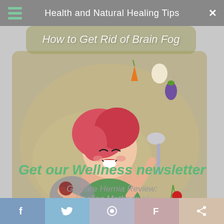Health and Natural Healing Tips
How to Get Rid of Brain Fog
[Figure (illustration): Cartoon illustration of a cheerful woman with red hair wearing a green top, holding a frying pan and a spoon, surrounded by vegetables and food items on a green swirling background.]
Get our Wellness newsletter
Grocare Hernia Review: Healing Methods of
Nurture yourself with health tips, wellness advice, and more.